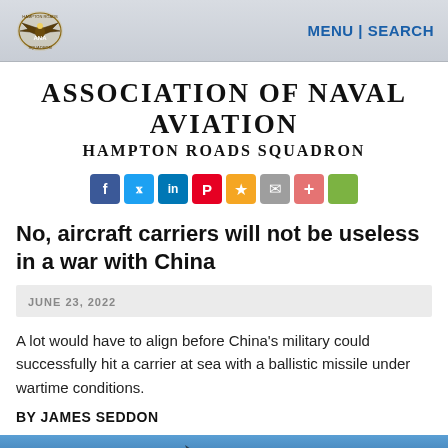MENU | SEARCH
ASSOCIATION OF NAVAL AVIATION Hampton Roads Squadron
[Figure (infographic): Social sharing buttons: Facebook, Twitter, LinkedIn, Pinterest, Favorite/Star, Email, Plus, Green share button]
No, aircraft carriers will not be useless in a war with China
JUNE 23, 2022
A lot would have to align before China's military could successfully hit a carrier at sea with a ballistic missile under wartime conditions.
BY JAMES SEDDON
[Figure (photo): Partial image of a military aircraft, blue background, cropped at bottom of page]